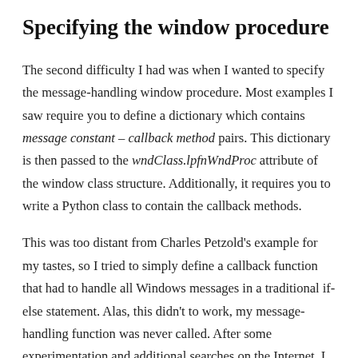Specifying the window procedure
The second difficulty I had was when I wanted to specify the message-handling window procedure. Most examples I saw require you to define a dictionary which contains message constant – callback method pairs. This dictionary is then passed to the wndClass.lpfnWndProc attribute of the window class structure. Additionally, it requires you to write a Python class to contain the callback methods.
This was too distant from Charles Petzold's example for my tastes, so I tried to simply define a callback function that had to handle all Windows messages in a traditional if-else statement. Alas, this didn't to work, my message-handling function was never called. After some experimentation and additional searches on the Internet, I finally found the answer on a Korean site (sadly, I forgot to write down the URL…): the first parameter of the win32gui.CreateWindow() should take the class atom itself and not